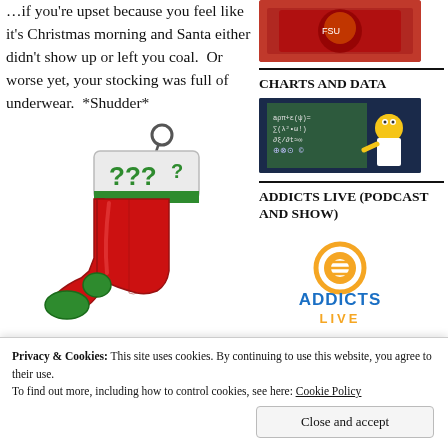...if you're upset because you feel like it's Christmas morning and Santa either didn't show up or left you coal.  Or worse yet, your stocking was full of underwear.  *Shudder*
[Figure (illustration): Cartoon Christmas stocking with green cuff showing question marks (????) in green, red body with green toe and heel]
[Figure (illustration): Red book with Seminoles logo - sidebar image]
CHARTS AND DATA
[Figure (illustration): Homer Simpson at chalkboard with equations - charts and data sidebar image]
ADDICTS LIVE (PODCAST AND SHOW)
[Figure (logo): Addicts Live podcast logo with orange circle microphone icon and blue ADDICTS LIVE text]
Privacy & Cookies: This site uses cookies. By continuing to use this website, you agree to their use.
To find out more, including how to control cookies, see here: Cookie Policy
Close and accept